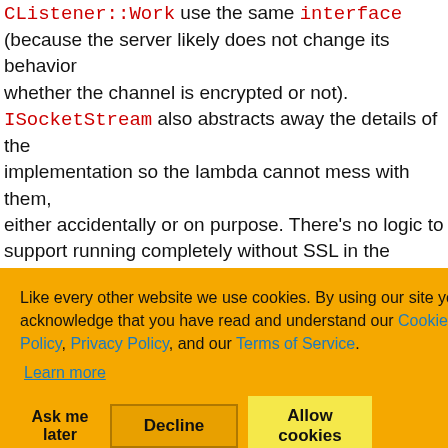CListener::Work use the same interface (because the server likely does not change its behavior whether the channel is encrypted or not). ISocketStream also abstracts away the details of the implementation so the lambda cannot mess with them, either accidentally or on purpose. There's no logic to support running completely without SSL in the example, but if you wanted to do it, it's a fairly simple change to CListener to not use CSSLServer at all.
Cookie consent overlay: Like every other website we use cookies. By using our site you acknowledge that you have read and understand our Cookie Policy, Privacy Policy, and our Terms of Service. Learn more. Buttons: Ask me later, Decline, Allow cookies.
...HANNEL ...artly because the ...ovider Interface - ...ovider which ...r much the first ...unctionTable object pointed at an SSPI implementation by calling